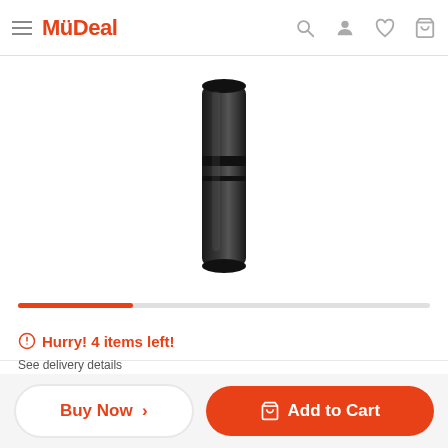MyDeal
[Figure (photo): Product photo: a black cylindrical device (appears to be a flashlight or similar tool) shown partially, cropped at top]
Hurry! 4 items left!
Price  $468.88
Sh... ostcod...  See delivery details
Buy Now >
Add to Cart